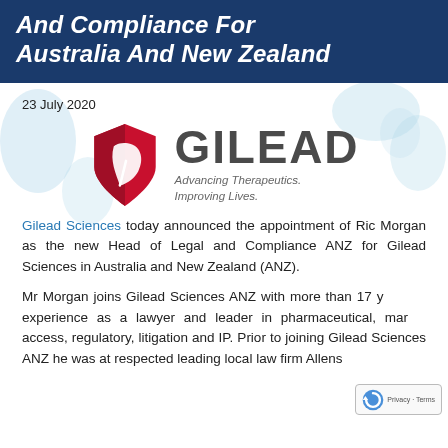And Compliance For Australia And New Zealand
23 July 2020
[Figure (logo): Gilead Sciences logo: red shield with leaf motif on left, 'GILEAD' wordmark in dark grey on right, tagline 'Advancing Therapeutics. Improving Lives.' below wordmark]
Gilead Sciences today announced the appointment of Ric Morgan as the new Head of Legal and Compliance ANZ for Gilead Sciences in Australia and New Zealand (ANZ).
Mr Morgan joins Gilead Sciences ANZ with more than 17 years of experience as a lawyer and leader in pharmaceutical, market access, regulatory, litigation and IP. Prior to joining Gilead Sciences ANZ he was at respected leading local law firm Allens.